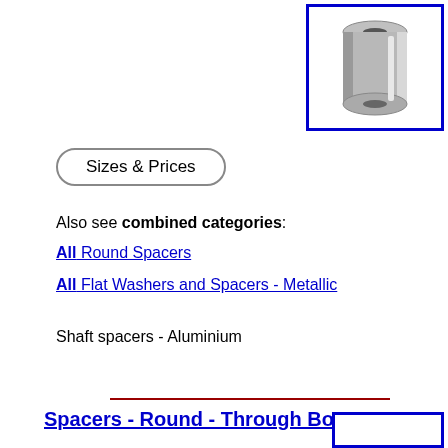[Figure (photo): Aluminium round shaft spacer - cylindrical silver metallic component with through bore, shown in a blue-bordered box]
Sizes & Prices
Also see combined categories:
All Round Spacers
All Flat Washers and Spacers - Metallic
Shaft spacers - Aluminium
Spacers - Round - Through Bore - Brass
[Figure (photo): Brass round spacer - partially visible in blue-bordered box at bottom right]